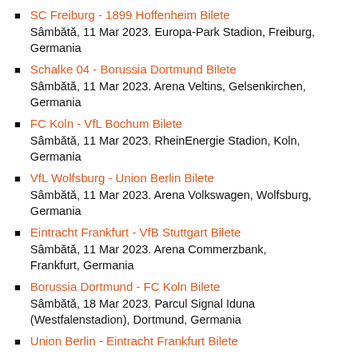SC Freiburg - 1899 Hoffenheim Bilete
Sâmbătă, 11 Mar 2023. Europa-Park Stadion, Freiburg, Germania
Schalke 04 - Borussia Dortmund Bilete
Sâmbătă, 11 Mar 2023. Arena Veltins, Gelsenkirchen, Germania
FC Koln - VfL Bochum Bilete
Sâmbătă, 11 Mar 2023. RheinEnergie Stadion, Koln, Germania
VfL Wolfsburg - Union Berlin Bilete
Sâmbătă, 11 Mar 2023. Arena Volkswagen, Wolfsburg, Germania
Eintracht Frankfurt - VfB Stuttgart Bilete
Sâmbătă, 11 Mar 2023. Arena Commerzbank, Frankfurt, Germania
Borussia Dortmund - FC Koln Bilete
Sâmbătă, 18 Mar 2023. Parcul Signal Iduna (Westfalenstadion), Dortmund, Germania
Union Berlin - Eintracht Frankfurt Bilete